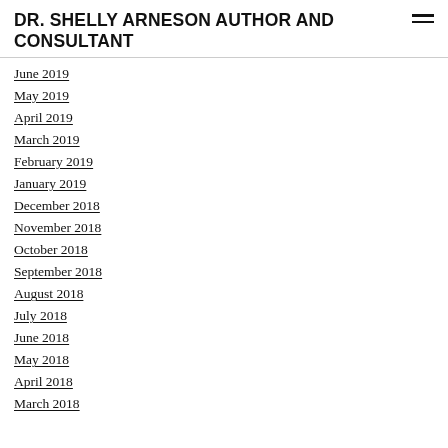DR. SHELLY ARNESON AUTHOR AND CONSULTANT
June 2019
May 2019
April 2019
March 2019
February 2019
January 2019
December 2018
November 2018
October 2018
September 2018
August 2018
July 2018
June 2018
May 2018
April 2018
March 2018